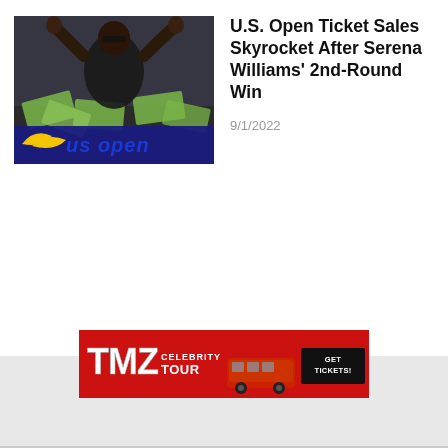[Figure (photo): Serena Williams celebrating with arms raised, money bills visible, US Open logo overlay with yellow swoosh and blue 'us open' text on dark background with crowd]
U.S. Open Ticket Sales Skyrocket After Serena Williams' 2nd-Round Win
9/1/2022
[Figure (infographic): TMZ Celebrity Tour advertisement banner - red background with TMZ logo in metallic/chrome style, 'CELEBRITY TOUR' text, red tour bus image, and black 'GET TICKETS!' button]